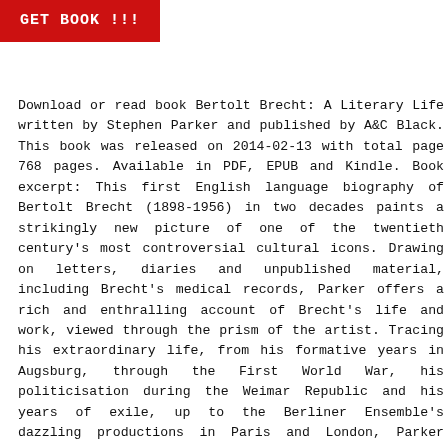[Figure (other): Red button with white bold text reading 'GET BOOK !!!']
Download or read book Bertolt Brecht: A Literary Life written by Stephen Parker and published by A&C Black. This book was released on 2014-02-13 with total page 768 pages. Available in PDF, EPUB and Kindle. Book excerpt: This first English language biography of Bertolt Brecht (1898-1956) in two decades paints a strikingly new picture of one of the twentieth century's most controversial cultural icons. Drawing on letters, diaries and unpublished material, including Brecht's medical records, Parker offers a rich and enthralling account of Brecht's life and work, viewed through the prism of the artist. Tracing his extraordinary life, from his formative years in Augsburg, through the First World War, his politicisation during the Weimar Republic and his years of exile, up to the Berliner Ensemble's dazzling productions in Paris and London, Parker shows how Brecht achieved